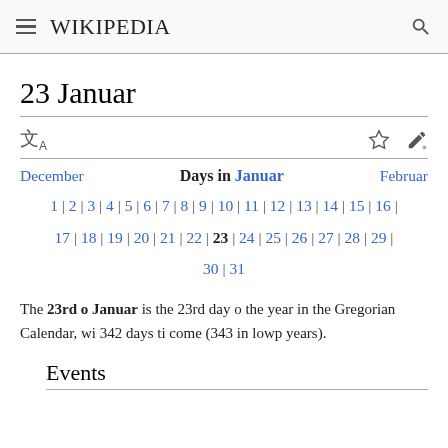Wikipedia
23 Januar
Days in Januar navigation: December | 1 | 2 | 3 | 4 | 5 | 6 | 7 | 8 | 9 | 10 | 11 | 12 | 13 | 14 | 15 | 16 | 17 | 18 | 19 | 20 | 21 | 22 | 23 | 24 | 25 | 26 | 27 | 28 | 29 | 30 | 31 | Februar
The 23rd o Januar is the 23rd day o the year in the Gregorian Calendar, wi 342 days ti come (343 in lowp years).
Events